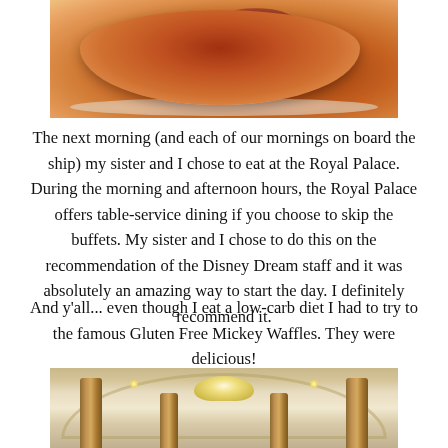[Figure (photo): Close-up photo of cooked meat (possibly chicken or duck) served on a white plate, with rich dark brown caramelized exterior]
The next morning (and each of our mornings on board the ship) my sister and I chose to eat at the Royal Palace. During the morning and afternoon hours, the Royal Palace offers table-service dining if you choose to skip the buffets. My sister and I chose to do this on the recommendation of the Disney Dream staff and it was absolutely an amazing way to start the day. I definitely recommend it.
And y'all... even though I eat a low-carb diet I had to try to the famous Gluten Free Mickey Waffles. They were delicious!
[Figure (photo): Interior photo of the Royal Palace restaurant on the Disney Dream cruise ship, showing elegant Art Deco styled dining room with ornate ceiling, columns, and chandeliers]